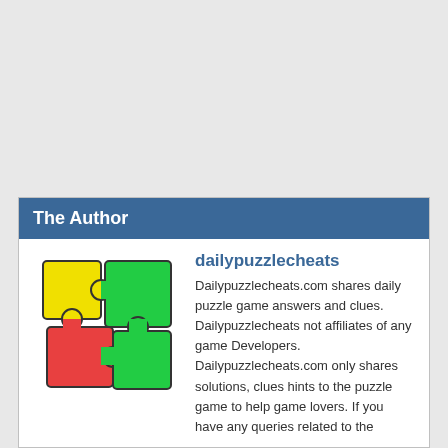The Author
[Figure (logo): Puzzle pieces logo: yellow, green, red/pink, and green interlocking jigsaw pieces]
dailypuzzlecheats
Dailypuzzlecheats.com shares daily puzzle game answers and clues. Dailypuzzlecheats not affiliates of any game Developers. Dailypuzzlecheats.com only shares solutions, clues hints to the puzzle game to help game lovers. If you have any queries related to the